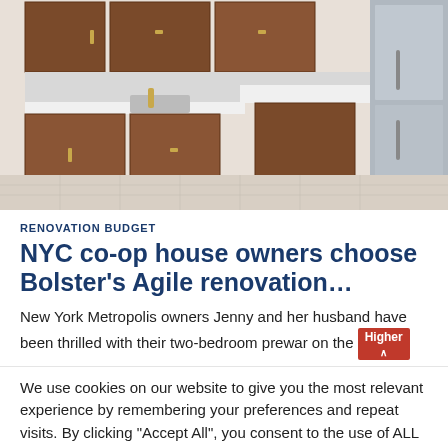[Figure (photo): Kitchen interior with dark brown wood cabinets, white countertops, stainless steel refrigerator and appliances, and light tile floor.]
RENOVATION BUDGET
NYC co-op house owners choose Bolster's Agile renovation...
New York Metropolis owners Jenny and her husband have been thrilled with their two-bedroom prewar on the
We use cookies on our website to give you the most relevant experience by remembering your preferences and repeat visits. By clicking "Accept All", you consent to the use of ALL the cookies. However you may visit "Cookie